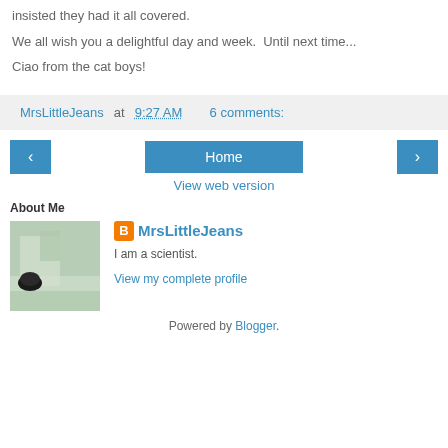insisted they had it all covered.
We all wish you a delightful day and week.  Until next time...
Ciao from the cat boys!
MrsLittleJeans at 9:27 AM   6 comments:
< Home >
View web version
About Me
MrsLittleJeans
I am a scientist.
View my complete profile
Powered by Blogger.